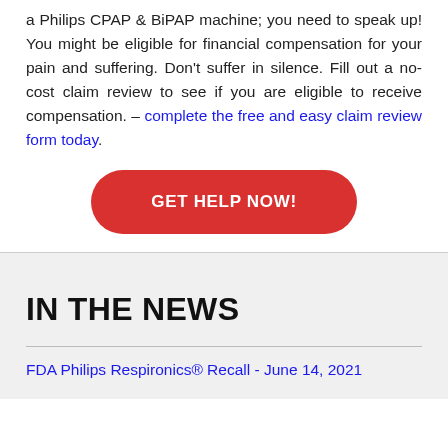a Philips CPAP & BiPAP machine; you need to speak up! You might be eligible for financial compensation for your pain and suffering. Don't suffer in silence. Fill out a no-cost claim review to see if you are eligible to receive compensation. – complete the free and easy claim review form today.
[Figure (other): Red rounded rectangle button with white uppercase text: GET HELP NOW!]
IN THE NEWS
FDA Philips Respironics® Recall - June 14, 2021